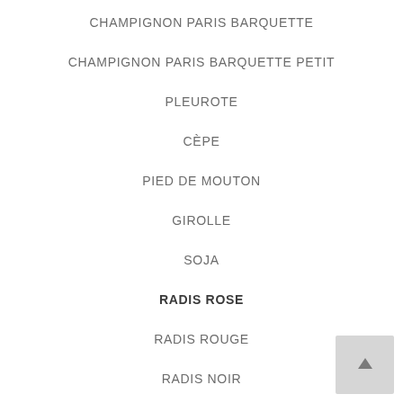CHAMPIGNON PARIS BARQUETTE
CHAMPIGNON PARIS BARQUETTE PETIT
PLEUROTE
CÈPE
PIED DE MOUTON
GIROLLE
SOJA
RADIS ROSE
RADIS ROUGE
RADIS NOIR